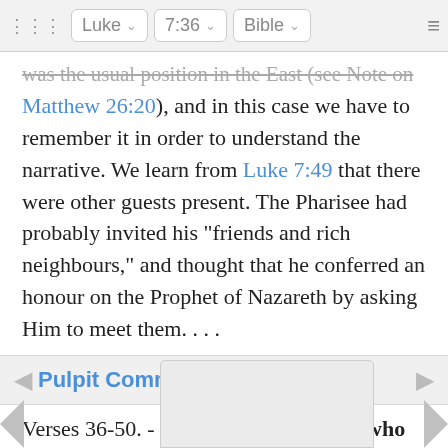Luke | 7:36 | Bible
was the usual position in the East (see Note on Matthew 26:20), and in this case we have to remember it in order to understand the narrative. We learn from Luke 7:49 that there were other guests present. The Pharisee had probably invited his "friends and rich neighbours," and thought that he conferred an honour on the Prophet of Nazareth by asking Him to meet them. . . .
Pulpit Commentary
Verses 36-50. - The nameless woman who was a sinner, and Simon the-Pharisee. As regards the incident about to be told, some commentators have believed that the anointing was identical with that related by St. John as having taken place at Betha...hout detail...wo recite...n to